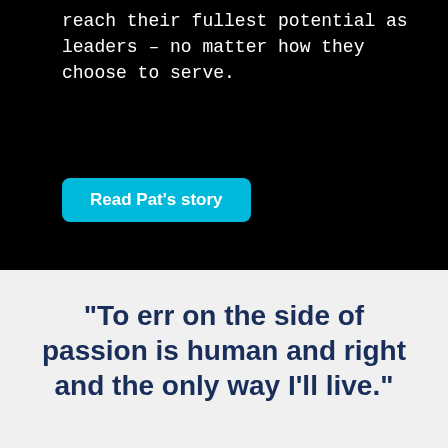reach their fullest potential as leaders – no matter how they choose to serve.
Read Pat's story
“To err on the side of passion is human and right and the only way I’ll live.”